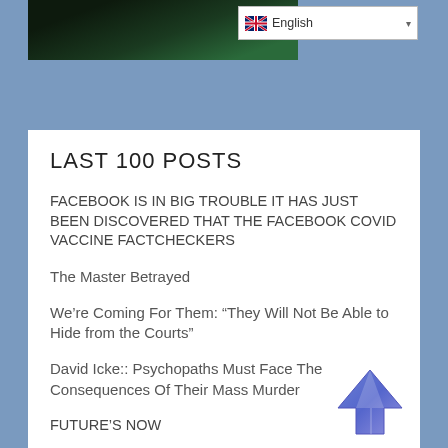[Figure (screenshot): Top image showing dark scene with green tones, partially cropped]
[Figure (screenshot): English language selector dropdown in top right]
LAST 100 POSTS
FACEBOOK IS IN BIG TROUBLE IT HAS JUST BEEN DISCOVERED THAT THE FACEBOOK COVID VACCINE FACTCHECKERS
The Master Betrayed
We're Coming For Them: “They Will Not Be Able to Hide from the Courts”
David Icke:: Psychopaths Must Face The Consequences Of Their Mass Murder
FUTURE'S NOW
Energy Bill: Its fine not to pay – just do it the right way…